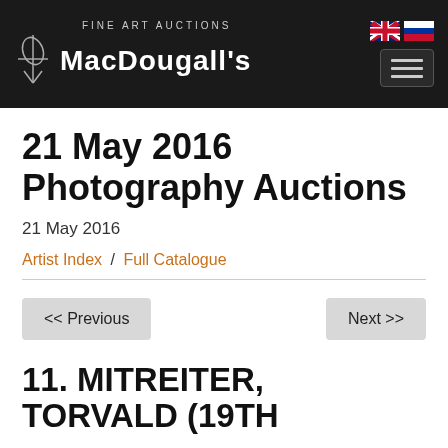[Figure (logo): MacDougall's Fine Art Auctions logo with white text on dark background, hamburger menu icon, and UK/Russia flag icons]
21 May 2016 Photography Auctions
21 May 2016
Artist Index / Full Catalogue
<< Previous
Next >>
11. MITREITER, TORVALD (19TH